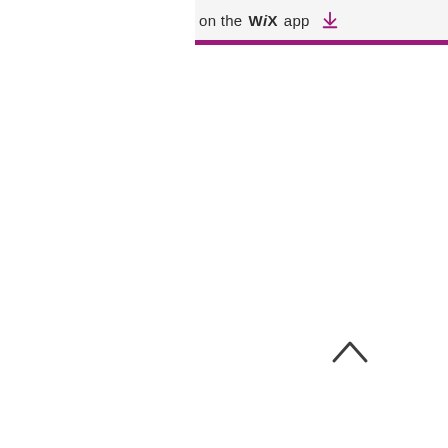on the WiX app ↓
[Figure (other): Chevron/caret up arrow icon in dark gray]